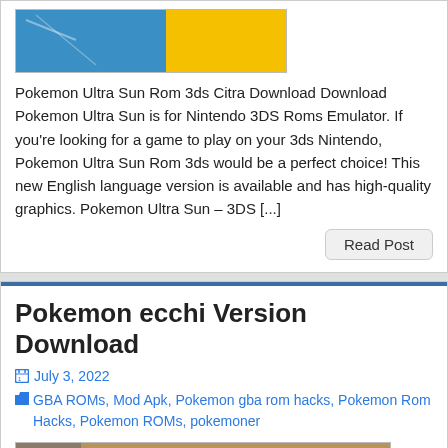[Figure (screenshot): Thumbnail image for Pokemon Ultra Sun game, showing blue and yellow/orange game art]
Pokemon Ultra Sun Rom 3ds Citra Download Download Pokemon Ultra Sun is for Nintendo 3DS Roms Emulator. If you're looking for a game to play on your 3ds Nintendo, Pokemon Ultra Sun Rom 3ds  would be a perfect choice! This new English language version is available and has high-quality graphics. Pokemon Ultra Sun – 3DS [...]
Read Post
Pokemon ecchi Version Download
July 3, 2022
GBA ROMs, Mod Apk, Pokemon gba rom hacks, Pokemon Rom Hacks, Pokemon ROMs, pokemoner
[Figure (screenshot): Pokemon Ecchi version cover art showing ECCHI text in red, a Pokemon sprite, and multiple Censored overlays]